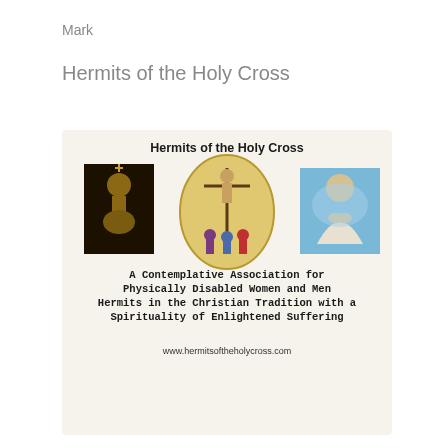Mark
Hermits of the Holy Cross
[Figure (illustration): A card/brochure image for Hermits of the Holy Cross showing three religious images: a dark wooden carving of a figure, a central oval icon of the crucifixion with figures, and a blue-toned image of a person in prayer with hands clasped. Below the images is text: 'A Contemplative Association for Physically Disabled Women and Men Hermits in the Christian Tradition with a Spirituality of Enlightened Suffering' and the website www.hermitsoftheholycross.com]